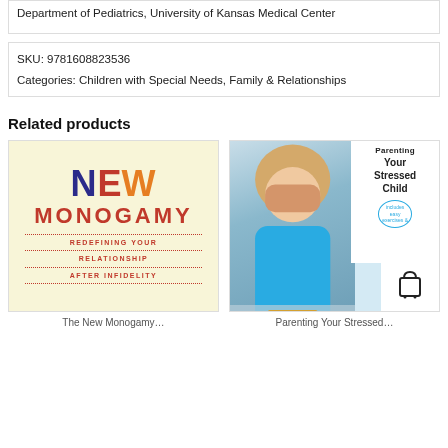Department of Pediatrics, University of Kansas Medical Center
SKU: 9781608823536
Categories: Children with Special Needs, Family & Relationships
Related products
[Figure (photo): Book cover: The New Monogamy - Redefining Your Relationship After Infidelity. Cream background with large colorful text: NEW in blue/red/orange, MONOGAMY in red, subtitle in red with dotted dividers.]
The New Monogamy…
[Figure (photo): Book cover: Parenting Your Stressed Child. Photo of a young blonde girl in a blue shirt covering her face with her hands. Text overlay: Parenting Your Stressed Child. Includes easy exercises & interventions. Shopping cart icon overlay at bottom right.]
Parenting Your Stressed…